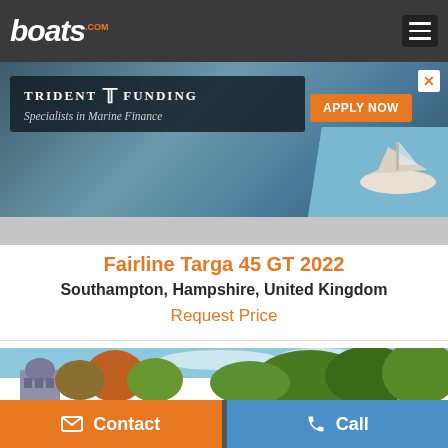boats.com
[Figure (screenshot): Trident Funding advertisement banner: dark background with Trident TF Funding logo, tagline 'Specialists in Marine Finance', orange 'APPLY NOW' button, and boat on water image on right side.]
Fairline Targa 45 GT 2022
Southampton, Hampshire, United Kingdom
Request Price
[Figure (photo): Outdoor photo showing a historic building with dome/turret on left, surrounded by trees with autumn foliage and blue sky.]
Contact
Call